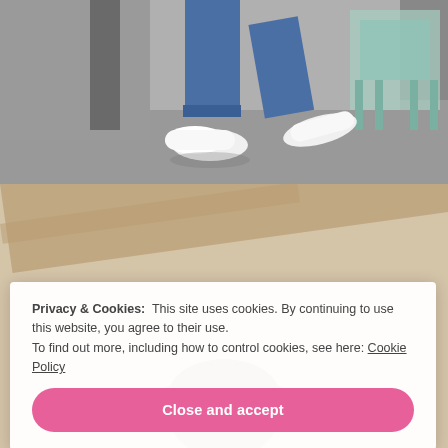[Figure (photo): Photo of person's lower body wearing blue jeans and white sneakers, walking outdoors with teal metal chairs in background]
[Figure (photo): Photo showing top of a person's head with brown hair, background is a blurred light beige outdoor surface]
Privacy & Cookies:  This site uses cookies. By continuing to use this website, you agree to their use.
To find out more, including how to control cookies, see here: Cookie Policy
Close and accept